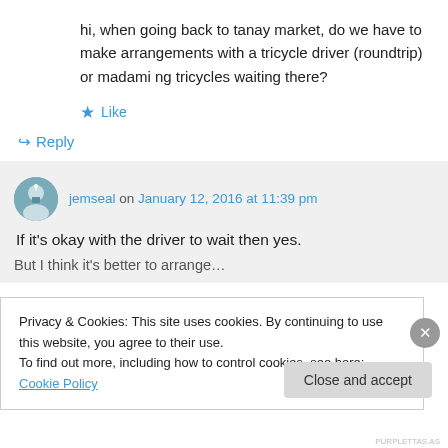hi, when going back to tanay market, do we have to make arrangements with a tricycle driver (roundtrip) or madami ng tricycles waiting there?
★ Like
↪ Reply
jemseal on January 12, 2016 at 11:39 pm
If it's okay with the driver to wait then yes.
Privacy & Cookies: This site uses cookies. By continuing to use this website, you agree to their use.
To find out more, including how to control cookies, see here: Cookie Policy
Close and accept